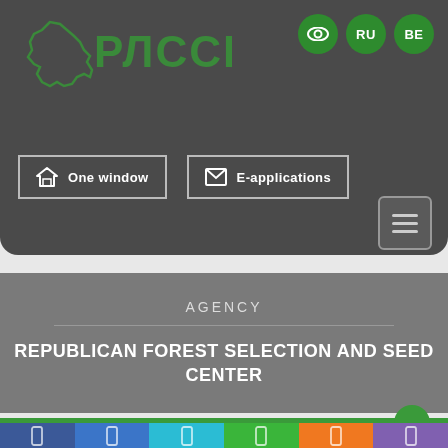[Figure (screenshot): Website header with РЛССЦ logo (Belarusian forestry agency), eye icon, RU and BE language buttons]
[Figure (logo): РЛССЦ logo with green Belarus map outline and green Cyrillic text]
One window
E-applications
AGENCY
REPUBLICAN FOREST SELECTION AND SEED CENTER
[Figure (infographic): Social media icon bar at bottom with colored sections: dark blue, blue, cyan/light blue, green, orange, purple. Each section has a smartphone/tablet icon outline.]